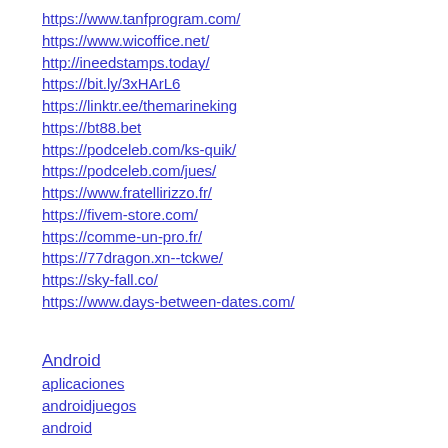https://www.tanfprogram.com/
https://www.wicoffice.net/
http://ineedstamps.today/
https://bit.ly/3xHArL6
https://linktr.ee/themarineking
https://bt88.bet
https://podceleb.com/ks-quik/
https://podceleb.com/jues/
https://www.fratellirizzo.fr/
https://fivem-store.com/
https://comme-un-pro.fr/
https://77dragon.xn--tckwe/
https://sky-fall.co/
https://www.days-between-dates.com/
Android
aplicaciones
androidjuegos
android